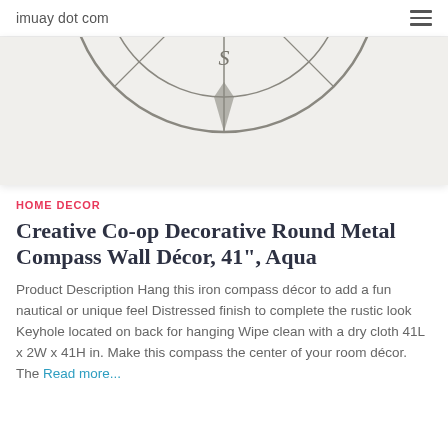imuay dot com
[Figure (photo): Partial product image of a round metal compass wall décor with ornate compass rose design, in aqua/grey finish, shown against white background. Only the lower portion of the circular compass is visible.]
HOME DECOR
Creative Co-op Decorative Round Metal Compass Wall Décor, 41", Aqua
Product Description Hang this iron compass décor to add a fun nautical or unique feel Distressed finish to complete the rustic look Keyhole located on back for hanging Wipe clean with a dry cloth 41L x 2W x 41H in. Make this compass the center of your room décor. The Read more...